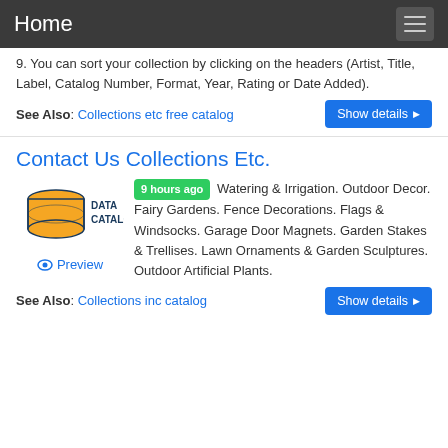Home
9. You can sort your collection by clicking on the headers (Artist, Title, Label, Catalog Number, Format, Year, Rating or Date Added).
See Also: Collections etc free catalog
Contact Us Collections Etc.
[Figure (logo): Data Catalog logo: orange cylinder database icon with 'DATA CATALOG' text in dark blue]
9 hours ago Watering & Irrigation. Outdoor Decor. Fairy Gardens. Fence Decorations. Flags & Windsocks. Garage Door Magnets. Garden Stakes & Trellises. Lawn Ornaments & Garden Sculptures. Outdoor Artificial Plants.
See Also: Collections inc catalog